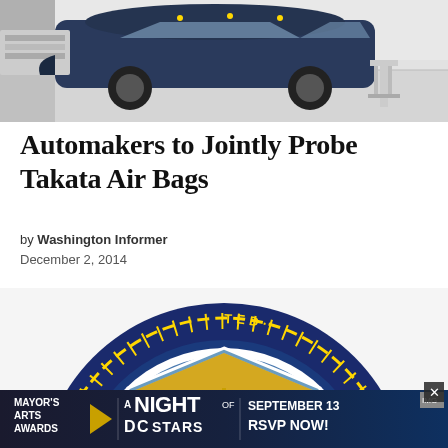[Figure (photo): Car crash test photo showing a dark blue vehicle in a testing facility with white walls and floor]
Automakers to Jointly Probe Takata Air Bags
by Washington Informer
December 2, 2014
[Figure (logo): Partial view of a government commission seal with yellow/gold border dots, shield with scales of justice, dark blue background, text reading COMMISS... ATED... STATES]
[Figure (photo): Mayor's Arts Awards advertisement banner: A Night of DC Stars, September 13, RSVP Now!]